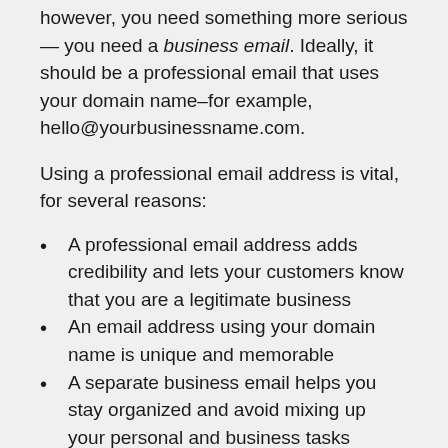however, you need something more serious — you need a business email. Ideally, it should be a professional email that uses your domain name–for example, hello@yourbusinessname.com.
Using a professional email address is vital, for several reasons:
A professional email address adds credibility and lets your customers know that you are a legitimate business
An email address using your domain name is unique and memorable
A separate business email helps you stay organized and avoid mixing up your personal and business tasks
A business email lets you easily activate emails for new employees and